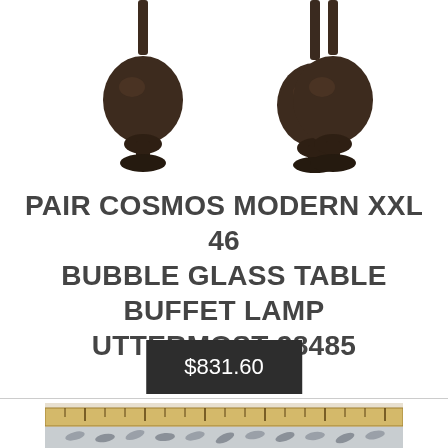[Figure (photo): Two dark bronze modern XXL bubble glass table buffet lamps shown from above, partially cropped at the top of the image]
PAIR COSMOS MODERN XXL 46 BUBBLE GLASS TABLE BUFFET LAMP UTTERMOST 28485
$831.60
[Figure (photo): Product photo showing a wooden ruler and a bag of metal screws/hardware on a light background]